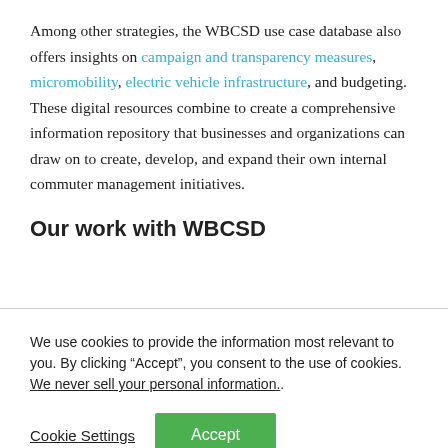Among other strategies, the WBCSD use case database also offers insights on campaign and transparency measures, micromobility, electric vehicle infrastructure, and budgeting. These digital resources combine to create a comprehensive information repository that businesses and organizations can draw on to create, develop, and expand their own internal commuter management initiatives.
Our work with WBCSD
We use cookies to provide the information most relevant to you. By clicking “Accept”, you consent to the use of cookies. We never sell your personal information.